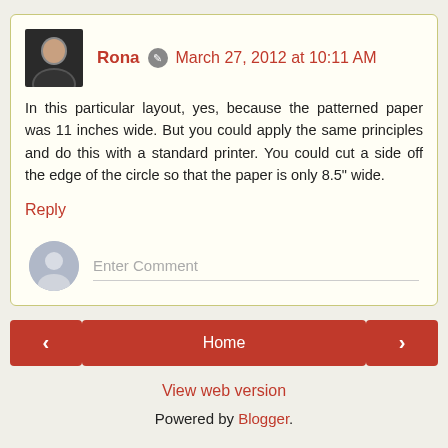Rona · March 27, 2012 at 10:11 AM
In this particular layout, yes, because the patterned paper was 11 inches wide. But you could apply the same principles and do this with a standard printer. You could cut a side off the edge of the circle so that the paper is only 8.5" wide.
Reply
Enter Comment
Home
View web version
Powered by Blogger.